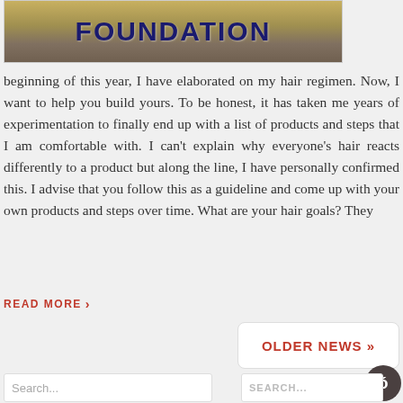[Figure (photo): Image of wooden foundation structure with the word FOUNDATION overlaid in large dark blue bold text]
beginning of this year, I have elaborated on my hair regimen. Now, I want to help you build yours. To be honest, it has taken me years of experimentation to finally end up with a list of products and steps that I am comfortable with. I can't explain why everyone's hair reacts differently to a product but along the line, I have personally confirmed this. I advise that you follow this as a guideline and come up with your own products and steps over time. What are your hair goals? They
READ MORE ›
OLDER NEWS »
Search...
SEARCH...